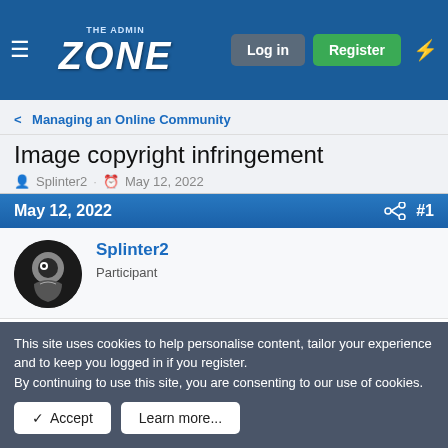the ADMIN ZONE | Log in | Register
< Managing an Online Community
Image copyright infringement
Splinter2 · May 12, 2022
May 12, 2022  #1
Splinter2
Participant
I've just come across a case where a tech blog has been told to pay a large license fee claim for using an image in
This site uses cookies to help personalise content, tailor your experience and to keep you logged in if you register.
By continuing to use this site, you are consenting to our use of cookies.
✓ Accept   Learn more...